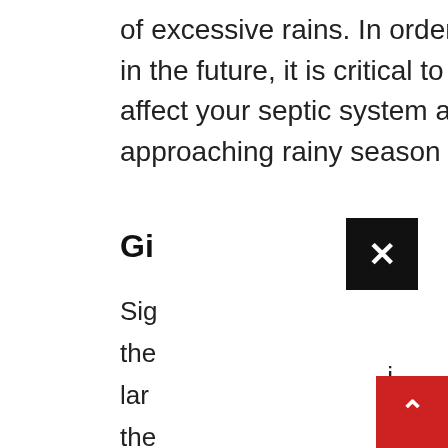of excessive rains. In order to prevent difficulties from occurring in the future, it is critical to understand how downpours might affect your septic system and what you can do to prepare for the approaching rainy season and avoid problems from occurring.
Gi
Sig
the
lar
the
it c
soi
pa
tim